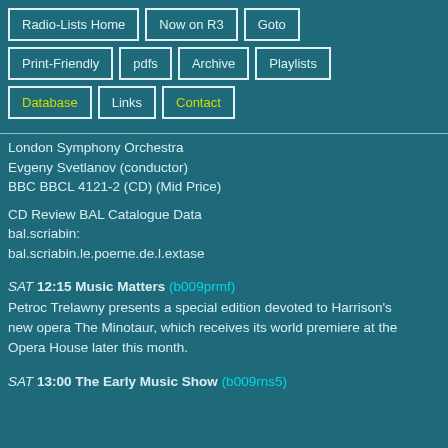Radio-Lists Home
Now on R3
Goto
Print-Friendly
pdfs
Archive
Playlists
Database
Links
Contact
London Symphony Orchestra
Evgeny Svetlanov (conductor)
BBC BBCL 4121-2 (CD) (Mid Price)
CD Review BAL Catalogue Data
bal.scriabin:
bal.scriabin.le.poeme.de.l.extase
SAT 12:15 Music Matters (b009prmf)
Petroc Trelawny presents a special edition devoted to Harrison's new opera The Minotaur, which receives its world premiere at the Opera House later this month.
SAT 13:00 The Early Music Show (b009rns5)